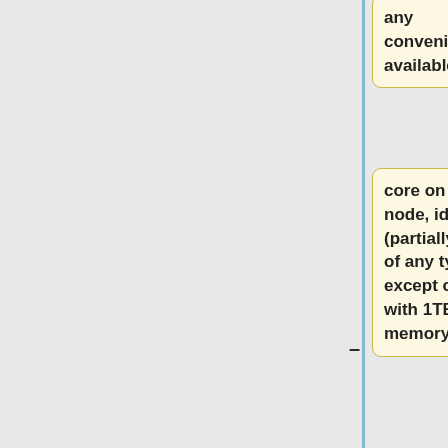any conveniently available
core on any node, idle or (partially) busy, of any type, except on those with 1TB or 2TB memory.<br>
It is worth emphasizing that, under the current LSF setup, only the '"-x"' option and a ptile value equal to the node's